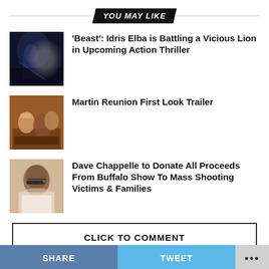YOU MAY LIKE
[Figure (photo): Thumbnail image for Beast article: dark cinematic scene with figure]
'Beast': Idris Elba is Battling a Vicious Lion in Upcoming Action Thriller
[Figure (photo): Thumbnail image for Martin Reunion article: people seated indoors]
Martin Reunion First Look Trailer
[Figure (photo): Thumbnail image for Dave Chappelle article: man with glasses]
Dave Chappelle to Donate All Proceeds From Buffalo Show To Mass Shooting Victims & Families
CLICK TO COMMENT
SHARE   TWEET   •••